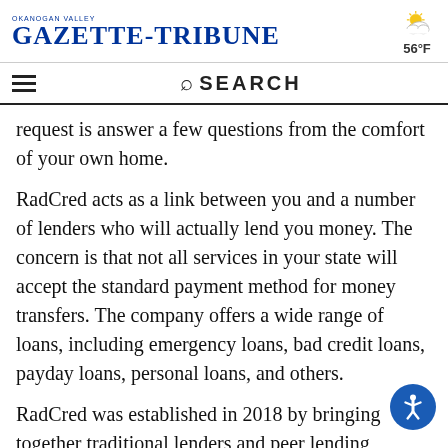OKANOGAN VALLEY GAZETTE-TRIBUNE 56°F
request is answer a few questions from the comfort of your own home.
RadCred acts as a link between you and a number of lenders who will actually lend you money. The concern is that not all services in your state will accept the standard payment method for money transfers. The company offers a wide range of loans, including emergency loans, bad credit loans, payday loans, personal loans, and others.
RadCred was established in 2018 by bringing together traditional lenders and peer lending networks. Customers can easily navigate the website and sign up for loans through the site...